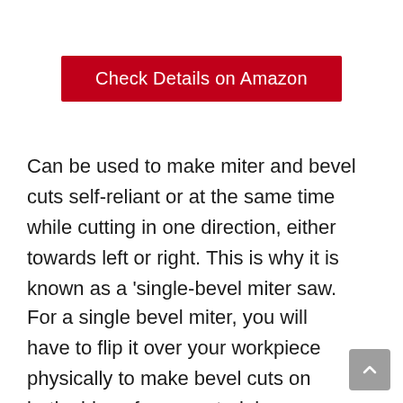[Figure (other): Red button labeled 'Check Details on Amazon']
Can be used to make miter and bevel cuts self-reliant or at the same time while cutting in one direction, either towards left or right. This is why it is known as a ‘single-bevel miter saw.
For a single bevel miter, you will have to flip it over your workpiece physically to make bevel cuts on both sides of your material.